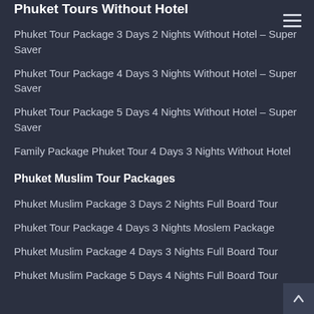Phuket Tours Without Hotel
Phuket Tour Package 3 Days 2 Nights Without Hotel – Super Saver
Phuket Tour Package 4 Days 3 Nights Without Hotel – Super Saver
Phuket Tour Package 5 Days 4 Nights Without Hotel – Super Saver
Family Package Phuket Tour 4 Days 3 Nights Without Hotel
Phuket Muslim Tour Packages
Phuket Muslim Package 3 Days 2 Nights Full Board Tour
Phuket Tour Package 4 Days 3 Nights Moslem Package
Phuket Muslim Package 4 Days 3 Nights Full Board Tour
Phuket Muslim Package 5 Days 4 Nights Full Board Tour